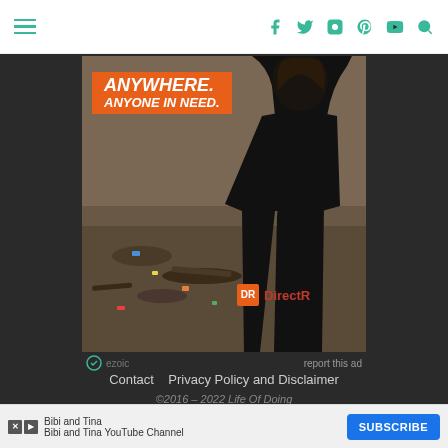navigation header with hamburger menu and social icons
[Figure (photo): Advertisement for DirectRelief charity showing a person in a black jacket from behind, with rubble in background. Orange banner reads ANYWHERE. ANYONE IN NEED. DirectRelief logo visible.]
report this ad
Contact   Privacy Policy and Disclaimer
©2016 – 2022 Life Of Doing
BACK TO TOP
This website uses cookies to improve your experience. Please
Bibi and Tina
Bibi and Tina YouTube Channel